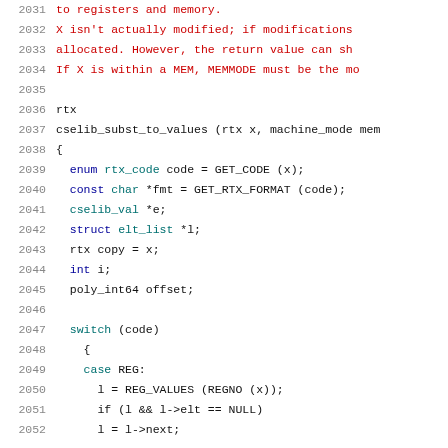Source code listing, lines 2031-2052
2031   to registers and memory.
2032   X isn't actually modified; if modifications
2033   allocated.  However, the return value can sh
2034   If X is within a MEM, MEMMODE must be the mo
2035
2036 rtx
2037 cselib_subst_to_values (rtx x, machine_mode mem
2038 {
2039   enum rtx_code code = GET_CODE (x);
2040   const char *fmt = GET_RTX_FORMAT (code);
2041   cselib_val *e;
2042   struct elt_list *l;
2043   rtx copy = x;
2044   int i;
2045   poly_int64 offset;
2046
2047   switch (code)
2048     {
2049     case REG:
2050       l = REG_VALUES (REGNO (x));
2051       if (l && l->elt == NULL)
2052       l = l->next;